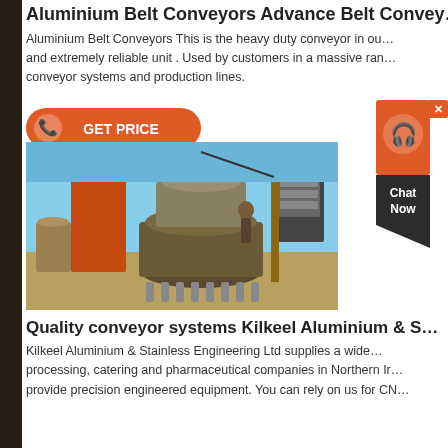Aluminium Belt Conveyors Advance Belt Convey…
Aluminium Belt Conveyors This is the heavy duty conveyor in ou… and extremely reliable unit . Used by customers in a massive ran… conveyor systems and production lines.
[Figure (infographic): Orange GET PRICE button with phone icon]
[Figure (photo): Industrial conveyor/crusher machinery on a construction or mining site, showing heavy orange metallic equipment with a control panel display]
[Figure (infographic): Chat Now widget with orange circular headset icon and dark background, with close X button]
Quality conveyor systems Kilkeel Aluminium & S…
Kilkeel Aluminium & Stainless Engineering Ltd supplies a wide… processing, catering and pharmaceutical companies in Northern Ir… provide precision engineered equipment. You can rely on us for CN…